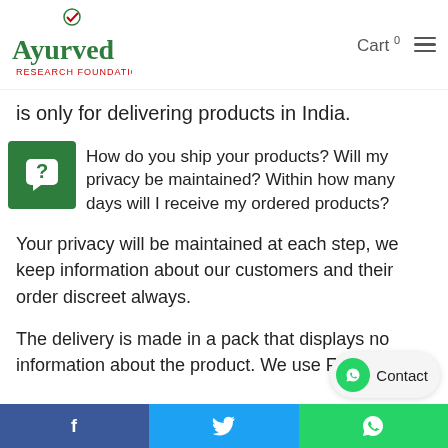Ayurved Research Foundation — Cart 0
is only for delivering products in India.
How do you ship your products? Will my privacy be maintained? Within how many days will I receive my ordered products?
Your privacy will be maintained at each step, we keep information about our customers and their order discreet always.
The delivery is made in a pack that displays no information about the product. We use FedEx
Facebook | Twitter | WhatsApp